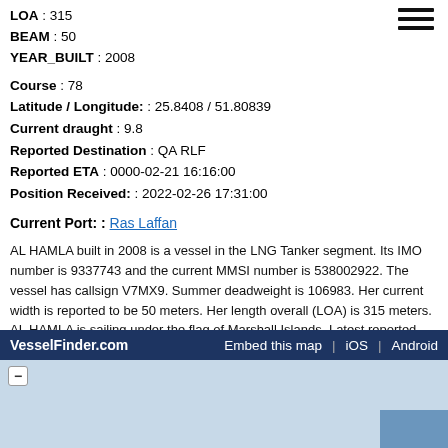LOA : 315
BEAM : 50
YEAR_BUILT : 2008
Course : 78
Latitude / Longitude: : 25.8408 / 51.80839
Current draught : 9.8
Reported Destination : QA RLF
Reported ETA : 0000-02-21 16:16:00
Position Received: : 2022-02-26 17:31:00
Current Port: : Ras Laffan
AL HAMLA built in 2008 is a vessel in the LNG Tanker segment. Its IMO number is 9337743 and the current MMSI number is 538002922. The vessel has callsign V7MX9. Summer deadweight is 106983. Her current width is reported to be 50 meters. Her length overall (LOA) is 315 meters. AL HAMLA is sailing under the flag of Marshall Islands. Latest reported draught is 9.8 meters.
VesselFinder.com   Embed this map  |  iOS  |  Android
[Figure (map): Map area showing vessel location, light blue background with a minus zoom button and a small inset map in the bottom right corner.]